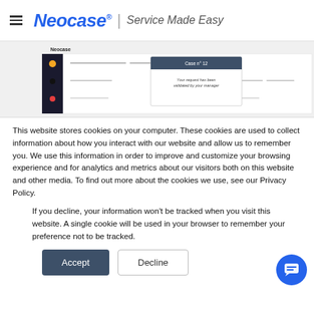Neocase | Service Made Easy
[Figure (screenshot): Screenshot of Neocase application interface showing a case management screen with 'Case n° 12' popup and message 'Your request has been validated by your manager']
This website stores cookies on your computer. These cookies are used to collect information about how you interact with our website and allow us to remember you. We use this information in order to improve and customize your browsing experience and for analytics and metrics about our visitors both on this website and other media. To find out more about the cookies we use, see our Privacy Policy.
If you decline, your information won't be tracked when you visit this website. A single cookie will be used in your browser to remember your preference not to be tracked.
Accept  Decline